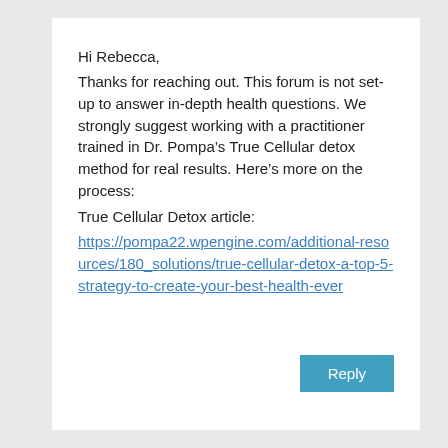Hi Rebecca,
Thanks for reaching out. This forum is not set-up to answer in-depth health questions. We strongly suggest working with a practitioner trained in Dr. Pompa’s True Cellular detox method for real results. Here’s more on the process:
True Cellular Detox article:
https://pompa22.wpengine.com/additional-resources/180_solutions/true-cellular-detox-a-top-5-strategy-to-create-your-best-health-ever
Reply